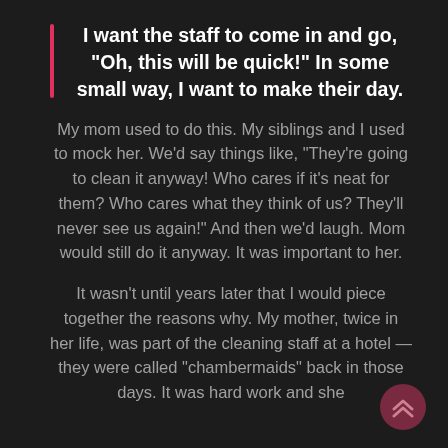I want the staff to come in and go, "Oh, this will be quick!" In some small way, I want to make their day.
My mom used to do this. My siblings and I used to mock her. We'd say things like, "They're going to clean it anyway! Who cares if it's neat for them? Who cares what they think of us? They'll never see us again!" And then we'd laugh. Mom would still do it anyway. It was important to her.
It wasn't until years later that I would piece together the reasons why. My mother, twice in her life, was part of the cleaning staff at a hotel — they were called "chambermaids" back in those days. It was hard work and she